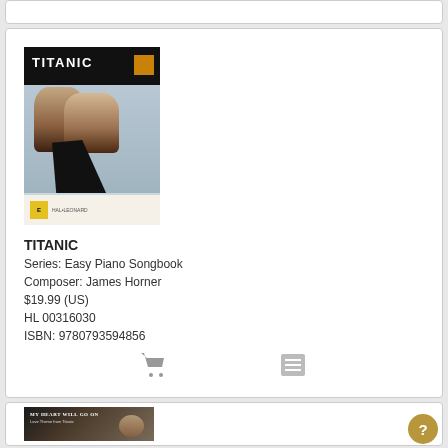[Figure (screenshot): Partial top card from previous listing]
[Figure (photo): Book cover for Titanic Easy Piano Songbook showing two people embracing and ship silhouette]
TITANIC
Series: Easy Piano Songbook
Composer: James Horner
$19.99 (US)
HL 00316030
ISBN: 9780793594856
[Figure (screenshot): Partial bottom card showing My Heart Will Go On book cover]
[Figure (other): Help/question mark floating button]